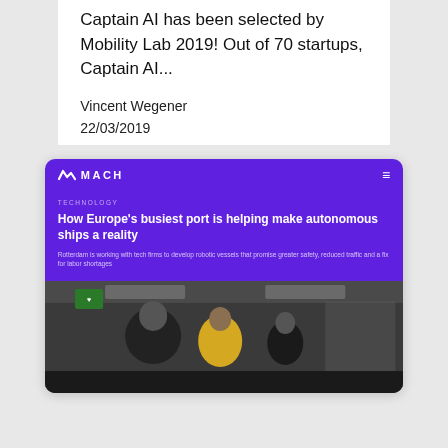Captain AI has been selected by Mobility Lab 2019! Out of 70 startups, Captain AI...
Vincent Wegener
22/03/2019
[Figure (screenshot): Screenshot of NBC MACH website article: 'How Europe's busiest port is helping make autonomous ships a reality' with purple header and photo of people inside a vessel]
TECHNOLOGY
How Europe's busiest port is helping make autonomous ships a reality
Rotterdam is working with tech firms to develop robotic vessels that promise greater safety, reduced traffic and a fix for labor shortages